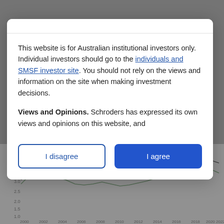[Figure (continuous-plot): Background line chart showing two lines (black and dark green) from approximately 2000 to 2022, with y-axis values ranging from 1.0 to 4.5. Chart is partially obscured by modal overlay.]
This website is for Australian institutional investors only. Individual investors should go to the individuals and SMSF investor site. You should not rely on the views and information on the site when making investment decisions.
Views and Opinions. Schroders has expressed its own views and opinions on this website, and